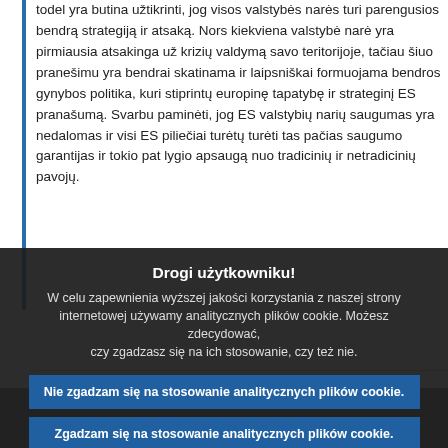todel yra butina užtikrinti, jog visos valstybės narės turi parengusios bendrą strategiją ir atsaką. Nors kiekviena valstybė narė yra pirmiausia atsakinga už krizių valdymą savo teritorijoje, tačiau šiuo pranešimu yra bendrai skatinama ir laipsniškai formuojama bendros gynybos politika, kuri stiprintų europinę tapatybę ir strateginį ES pranašumą. Svarbu paminėti, jog ES valstybių narių saugumas yra nedalomas ir visi ES piliečiai turėtų turėti tas pačias saugumo garantijas ir tokio pat lygio apsaugą nuo tradicinių ir netradicinių pavojų.
Drogi użytkowniku! W celu zapewnienia wyższej jakości korzystania z naszej strony internetowej używamy analitycznych plików cookie. Możesz zdecydować, czy zgadzasz się na ich stosowanie, czy też nie.
Nie zgadzam się na stosowanie analitycznych plików cookie.
Zgadzam się na stosowanie analitycznych plików cookie.
W celu uzyskania wszelkich informacji na temat innych używanych przez nas plików cookie i rejestrów aktywności sieciowej zapraszamy do zapoznania się z naszą Polityką ochrony prywatności , naszą Polityką dotyczącą plików cookie i naszym Wykazem plików cookie.